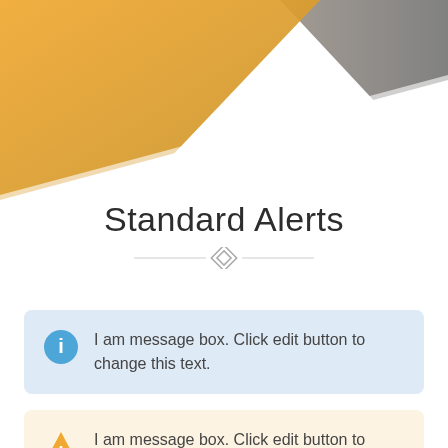[Figure (illustration): Decorative header with diagonal gradient shapes in gold/orange and grey tones on white background]
Standard Alerts
I am message box. Click edit button to change this text.
I am message box. Click edit button to change